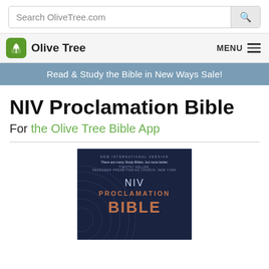Search OliveTree.com
Olive Tree  MENU
Read & Study the Bible in New Ways Sale!
NIV Proclamation Bible
For the Olive Tree Bible App
[Figure (photo): Book cover of NIV Proclamation Bible showing dark navy background with concentric circles, text reading NEW INTERNATIONAL VERSION at top, a quote 'There are many Study Bibles, but none better.' attributed to Timothy Keller, Redeemer Presbyterian Church, New York, and NIV PROCLAMATION BIBLE in large text.]